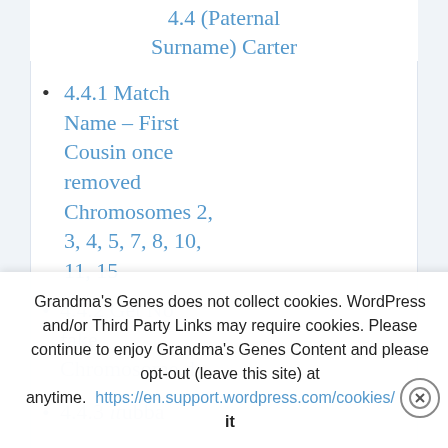4.4 (Paternal Surname) Carter
4.4.1 Match Name – First Cousin once removed Chromosomes 2, 3, 4, 5, 7, 8, 10, 11, 15
Grandma's Genes does not collect cookies. WordPress and/or Third Party Links may require cookies. Please continue to enjoy Grandma's Genes Content and please opt-out (leave this site) at anytime. https://en.support.wordpress.com/cookies/ Got it